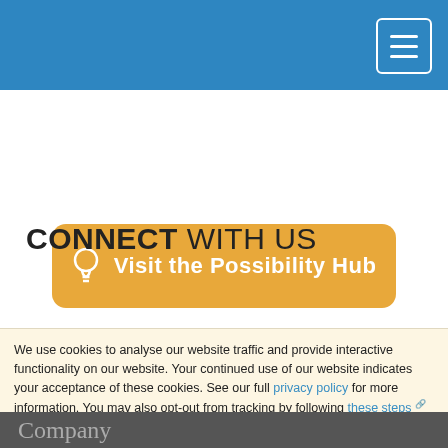[Figure (screenshot): Blue navigation header bar with hamburger menu icon button (three white lines in white-bordered rectangle) in top right corner]
[Figure (illustration): Orange rounded button with lightbulb icon and text 'Visit the Possibility Hub' in white bold text]
CONNECT WITH US
[Figure (infographic): Social media icons row: Facebook, Twitter, YouTube, LinkedIn — all in blue rounded-square style on light grey background]
We use cookies to analyse our website traffic and provide interactive functionality on our website. Your continued use of our website indicates your acceptance of these cookies. See our full privacy policy for more information. You may also opt-out from tracking by following these steps or instructions on disabling cookies from the maker of your internet browser software.
[Figure (illustration): Orange 'x Got it!' button in top right of cookie banner]
Company